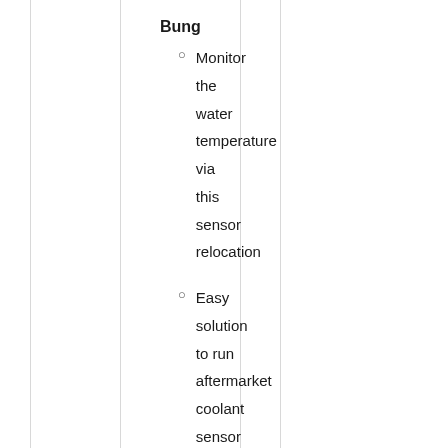Bung
Monitor the water temperature via this sensor relocation
Easy solution to run aftermarket coolant sensor
Provides more precise